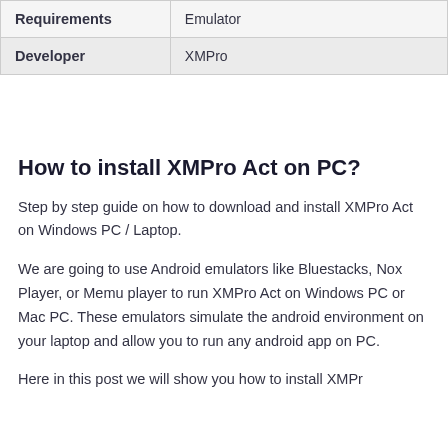| Requirements | Emulator |
| --- | --- |
| Developer | XMPro |
How to install XMPro Act on PC?
Step by step guide on how to download and install XMPro Act on Windows PC / Laptop.
We are going to use Android emulators like Bluestacks, Nox Player, or Memu player to run XMPro Act on Windows PC or Mac PC. These emulators simulate the android environment on your laptop and allow you to run any android app on PC.
Here in this post we will show you how to install XMPr...